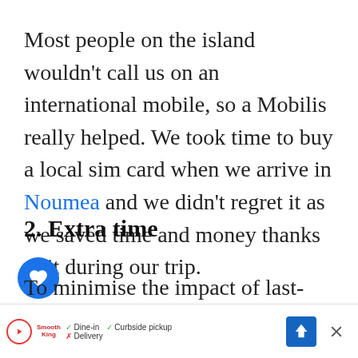Most people on the island wouldn't call us on an international mobile, so a Mobilis really helped. We took time to buy a local sim card when we arrive in Noumea and we didn't regret it as we saved time and money thanks to it during our trip.
2. Extra time
To minimise the impact of last-minute changes, always allow extra time in your schedule. The time in these islands is very different from our usual busy way of life. Don't try to squeeze in too many...